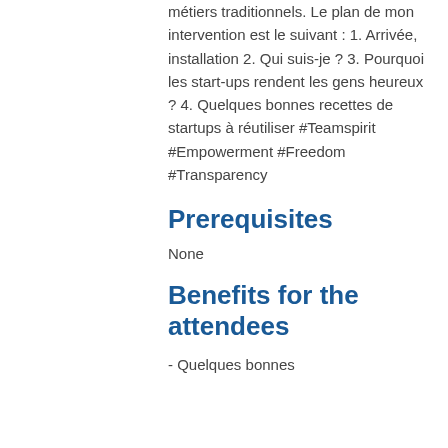métiers traditionnels. Le plan de mon intervention est le suivant : 1. Arrivée, installation 2. Qui suis-je ? 3. Pourquoi les start-ups rendent les gens heureux ? 4. Quelques bonnes recettes de startups à réutiliser #Teamspirit #Empowerment #Freedom #Transparency
Prerequisites
None
Benefits for the attendees
- Quelques bonnes